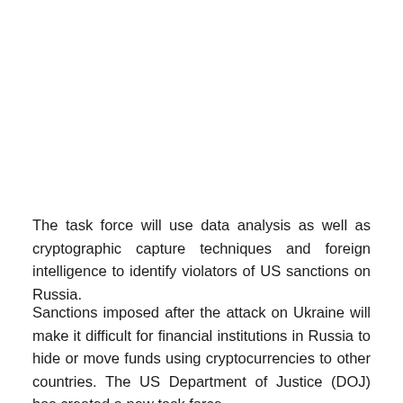The task force will use data analysis as well as cryptographic capture techniques and foreign intelligence to identify violators of US sanctions on Russia.
Sanctions imposed after the attack on Ukraine will make it difficult for financial institutions in Russia to hide or move funds using cryptocurrencies to other countries. The US Department of Justice (DOJ) has created a new task force called KleptoCapture for financial institutions that have...